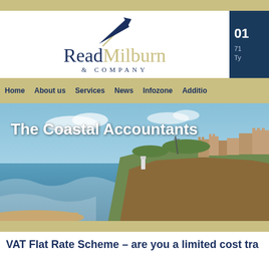[Figure (logo): Read Milburn & Company logo with arrow graphic above the text]
01
71
Ty
Home   About us   Services   News   Infozone   Additio
[Figure (photo): Coastal scene with castle ruins on cliffs and the sea, with overlay text 'The Coastal Accountants']
VAT Flat Rate Scheme – are you a limited cost tra